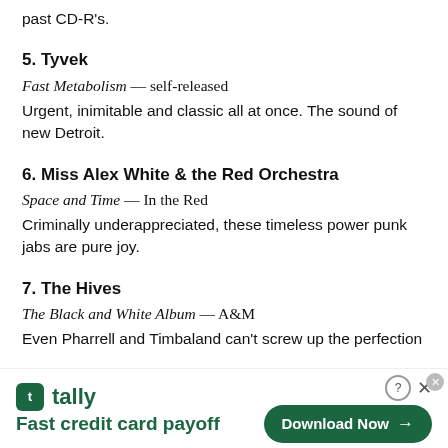past CD-R's.
5. Tyvek
Fast Metabolism — self-released
Urgent, inimitable and classic all at once. The sound of new Detroit.
6. Miss Alex White & the Red Orchestra
Space and Time — In the Red
Criminally underappreciated, these timeless power punk jabs are pure joy.
7. The Hives
The Black and White Album — A&M
Even Pharrell and Timbaland can't screw up the perfection
[Figure (infographic): Tally advertisement banner: logo with green icon and 'tally' text, tagline 'Fast credit card payoff', green 'Download Now' button with arrow, close/help buttons]